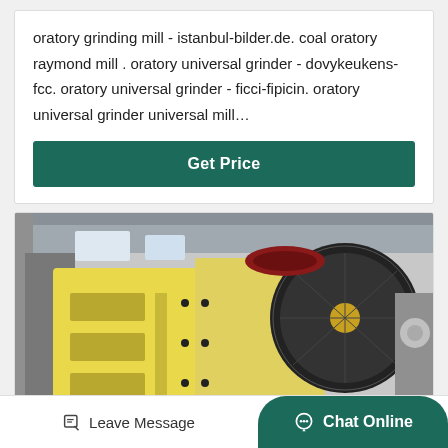oratory grinding mill - istanbul-bilder.de. coal oratory raymond mill . oratory universal grinder - dovykeukens-fcc. oratory universal grinder - ficci-fipicin. oratory universal grinder universal mill…
[Figure (other): Green button labeled 'Get Price']
[Figure (photo): Industrial jaw crusher machine, yellow and cream colored heavy equipment with large black flywheel, photographed in a factory/warehouse setting]
[Figure (other): Bottom navigation bar with 'Leave Message' icon button and 'Chat Online' dark green rounded button]